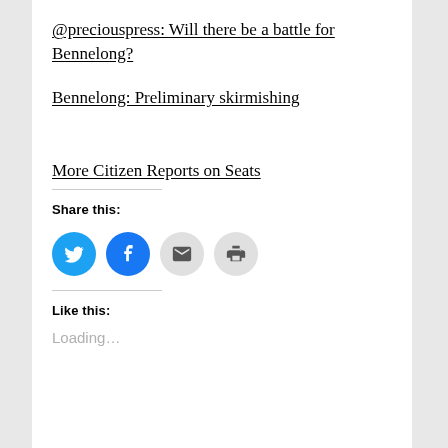@preciouspress: Will there be a battle for Bennelong?
Bennelong: Preliminary skirmishing
More Citizen Reports on Seats
Share this:
[Figure (other): Social sharing icons: Twitter (blue), Facebook (blue), Email (grey), Print (grey)]
Like this:
Loading...